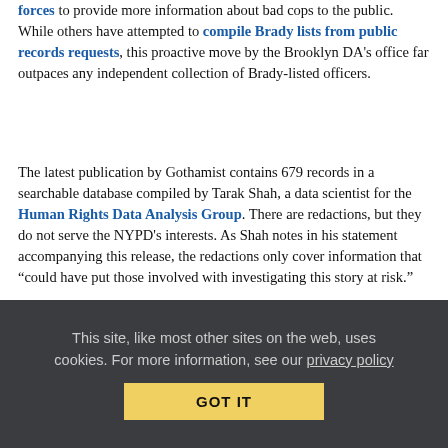forces to provide more information about bad cops to the public. While others have attempted to compile Brady lists from public records requests, this proactive move by the Brooklyn DA's office far outpaces any independent collection of Brady-listed officers.
The latest publication by Gothamist contains 679 records in a searchable database compiled by Tarak Shah, a data scientist for the Human Rights Data Analysis Group. There are redactions, but they do not serve the NYPD's interests. As Shah notes in his statement accompanying this release, the redactions only cover information that “could have put those involved with investigating this story at risk.”
More than 10,000 documents are now in the hands of Gothamist, courtesy of Brooklyn DA Eric Gonzalez. What’s in there? Plenty of cop bullshit. Here are just a few highlights:
One officer had his honesty on the witness stand
This site, like most other sites on the web, uses cookies. For more information, see our privacy policy
GOT IT